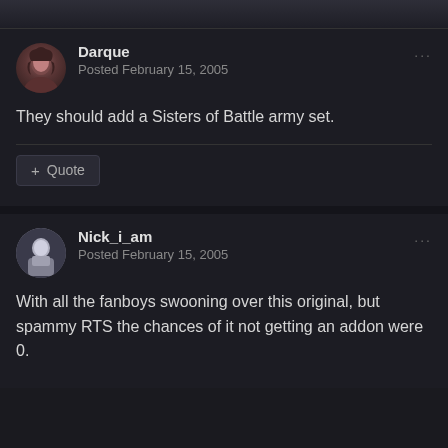Darque
Posted February 15, 2005
They should add a Sisters of Battle army set.
+ Quote
Nick_i_am
Posted February 15, 2005
With all the fanboys swooning over this original, but spammy RTS the chances of it not getting an addon were 0.